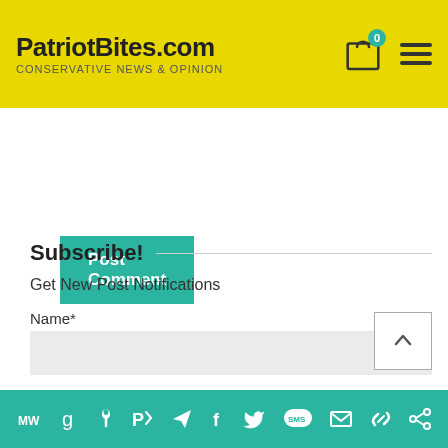PatriotBites.com — CONSERVATIVE NEWS & OPINION
Post Comment
Subscribe!
Get New Post Notifications
Name*
Email*
Are You a Human? 4 + 4 =
Social sharing icons: MW, Goodreads, Torch, Parler, Telegram, Facebook, Twitter, SMS, Email, Link, Share